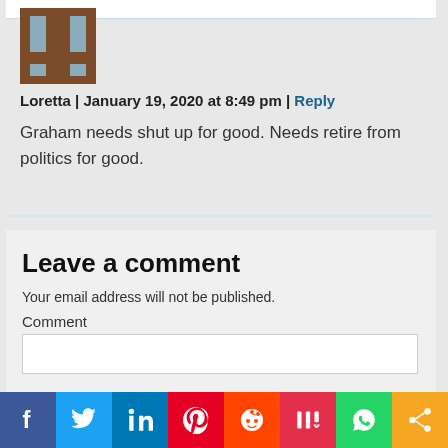[Figure (illustration): Brown pixel-art avatar icon with a stylized 'H' or person figure in blue-grey tones]
Loretta | January 19, 2020 at 8:49 pm | Reply
Graham needs shut up for good. Needs retire from politics for good.
Leave a comment
Your email address will not be published.
Comment
[Figure (infographic): Social sharing bar with icons: Facebook (blue), Twitter (light blue), LinkedIn (dark blue), Pinterest (red), Reddit (orange-red), Mix (red), WhatsApp (green), Share (orange)]